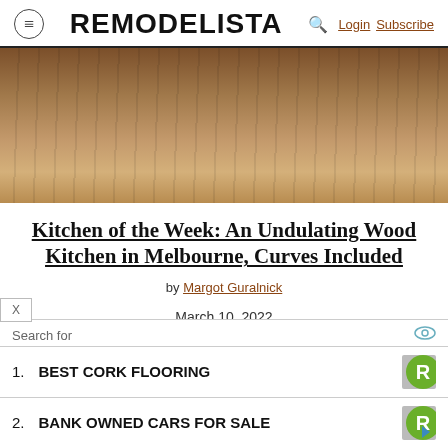REMODELISTA  Login  Subscribe
[Figure (photo): Interior photo of a wood kitchen in Melbourne showing warm brown wood paneling, cabinetry, flooring, and a bar stool.]
Kitchen of the Week: An Undulating Wood Kitchen in Melbourne, Curves Included
by Margot Guralnick
March 10, 2022
[Figure (other): Advertisement overlay with search list: 1. BEST CORK FLOORING, 2. BANK OWNED CARS FOR SALE, with green R badge logo and eye icon.]